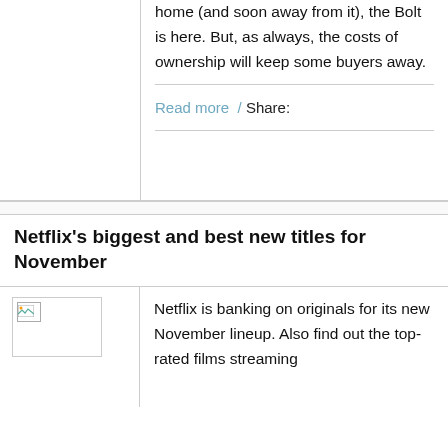home (and soon away from it), the Bolt is here. But, as always, the costs of ownership will keep some buyers away.
Read more  /  Share:
Netflix's biggest and best new titles for November
[Figure (photo): Broken image placeholder thumbnail]
Netflix is banking on originals for its new November lineup. Also find out the top-rated films streaming...